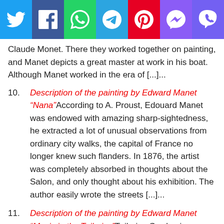[Figure (infographic): Social media sharing bar with icons: Twitter (blue), Facebook (dark blue), WhatsApp (green), Telegram (light blue), Pinterest (red), Messenger (purple), Viber (violet)]
Claude Monet. There they worked together on painting, and Manet depicts a great master at work in his boat. Although Manet worked in the era of [...]...
10. Description of the painting by Edward Manet "Nana" According to A. Proust, Edouard Manet was endowed with amazing sharp-sightedness, he extracted a lot of unusual observations from ordinary city walks, the capital of France no longer knew such flanders. In 1876, the artist was completely absorbed in thoughts about the Salon, and only thought about his exhibition. The author easily wrote the streets [...]...
11. Description of the painting by Edward Manet "Music in the Tuileries" Tuileries Garden is a ...